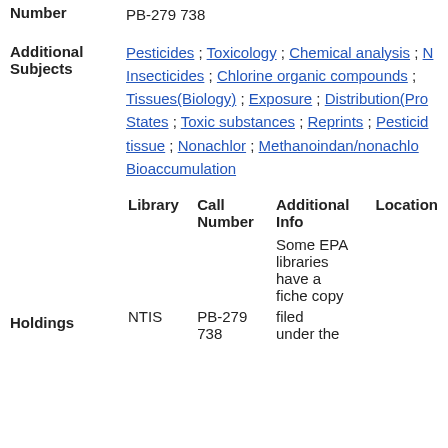PB-279 738
Number
Additional Subjects
Pesticides ; Toxicology ; Chemical analysis ; Insecticides ; Chlorine organic compounds ; Tissues(Biology) ; Exposure ; Distribution(Pro States ; Toxic substances ; Reprints ; Pesticid tissue ; Nonachlor ; Methanoindan/nonachlo Bioaccumulation
| Library | Call Number | Additional Info | Location |
| --- | --- | --- | --- |
| NTIS | PB-279 738 | Some EPA libraries have a fiche copy filed under the |  |
Holdings